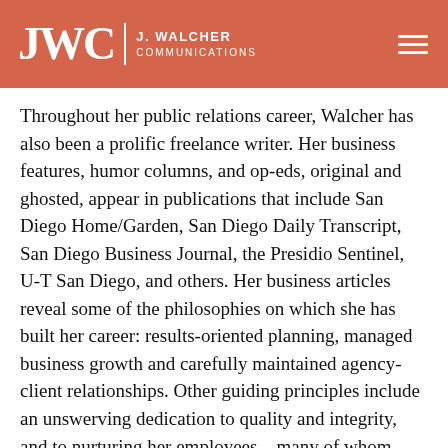JWC | J. WALCHER COMMUNICATIONS
Throughout her public relations career, Walcher has also been a prolific freelance writer. Her business features, humor columns, and op-eds, original and ghosted, appear in publications that include San Diego Home/Garden, San Diego Daily Transcript, San Diego Business Journal, the Presidio Sentinel, U-T San Diego, and others. Her business articles reveal some of the philosophies on which she has built her career: results-oriented planning, managed business growth and carefully maintained agency-client relationships. Other guiding principles include an unswerving dedication to quality and integrity, and to nurturing her employees – many of whom have made significant contributions of their own in the public relations field.